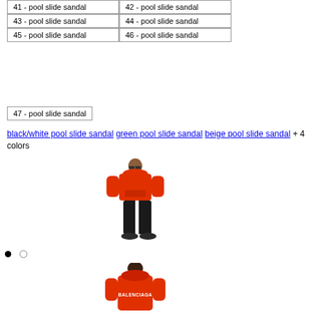| 41 - pool slide sandal | 42 - pool slide sandal |
| 43 - pool slide sandal | 44 - pool slide sandal |
| 45 - pool slide sandal | 46 - pool slide sandal |
| 47 - pool slide sandal |  |
black/white pool slide sandal green pool slide sandal beige pool slide sandal + 4 colors
[Figure (photo): Model wearing red hoodie and black pants, full body front view]
• ○
[Figure (photo): Model wearing red Balenciaga hoodie, back view showing BALENCIAGA text]